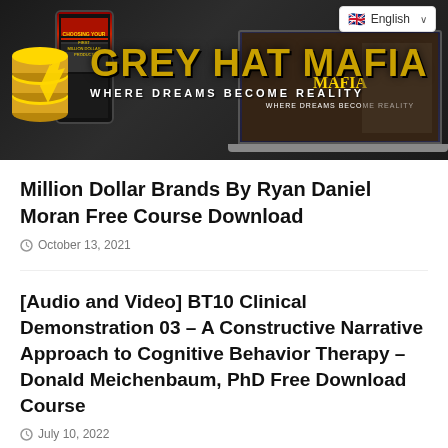[Figure (screenshot): Grey Hat Mafia website header banner showing logo with gold text 'GREY HAT MAFIA' and tagline 'WHERE DREAMS BECOME REALITY', with phone and laptop device mockups, and English language dropdown in top right corner]
Million Dollar Brands By Ryan Daniel Moran Free Course Download
October 13, 2021
[Audio and Video] BT10 Clinical Demonstration 03 – A Constructive Narrative Approach to Cognitive Behavior Therapy – Donald Meichenbaum, PhD Free Download Course
July 10, 2022